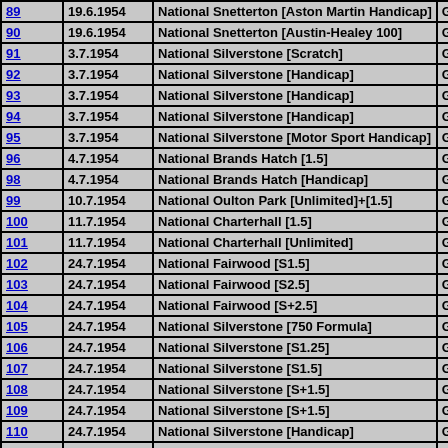| # | Date | Name | CC |
| --- | --- | --- | --- |
| 89 | 19.6.1954 | National Snetterton [Aston Martin Handicap] | GB |
| 90 | 19.6.1954 | National Snetterton [Austin-Healey 100] | GB |
| 91 | 3.7.1954 | National Silverstone [Scratch] | GB |
| 92 | 3.7.1954 | National Silverstone [Handicap] | GB |
| 93 | 3.7.1954 | National Silverstone [Handicap] | GB |
| 94 | 3.7.1954 | National Silverstone [Handicap] | GB |
| 95 | 3.7.1954 | National Silverstone [Motor Sport Handicap] | GB |
| 96 | 4.7.1954 | National Brands Hatch [1.5] | GB |
| 98 | 4.7.1954 | National Brands Hatch [Handicap] | GB |
| 99 | 10.7.1954 | National Oulton Park [Unlimited]+[1.5] | GB |
| 100 | 11.7.1954 | National Charterhall [1.5] | GB |
| 101 | 11.7.1954 | National Charterhall [Unlimited] | GB |
| 102 | 24.7.1954 | National Fairwood [S1.5] | GB |
| 103 | 24.7.1954 | National Fairwood [S2.5] | GB |
| 104 | 24.7.1954 | National Fairwood [S+2.5] | GB |
| 105 | 24.7.1954 | National Silverstone [750 Formula] | GB |
| 106 | 24.7.1954 | National Silverstone [S1.25] | GB |
| 107 | 24.7.1954 | National Silverstone [S1.5] | GB |
| 108 | 24.7.1954 | National Silverstone [S+1.5] | GB |
| 109 | 24.7.1954 | National Silverstone [S+1.5] | GB |
| 110 | 24.7.1954 | National Silverstone [Handicap] | GB |
| 111 | 24.7.1954 | National Silverstone [Handicap] | GB |
| 112 | 24.7.1954 | National Silverstone [Handicap] | GB |